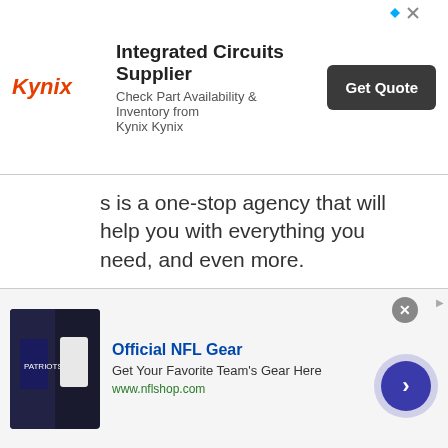[Figure (screenshot): Kynix Integrated Circuits Supplier advertisement banner with Kynix logo, ad text, and Get Quote button]
s is a one-stop agency that will help you with everything you need, and even more.
Their rates are affordable, being super competitive in the web design and web development industries.
Get a free quote.
30. Landingi
[Figure (screenshot): Official NFL Gear advertisement banner with NFL jerseys image, text, and navigation arrow button. Infolinks badge visible.]